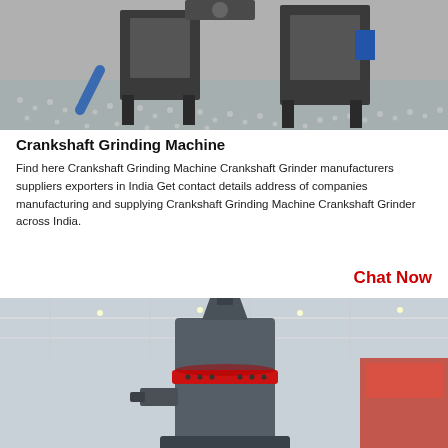[Figure (photo): Industrial crankshaft grinding machines in a factory setting, surrounded by small gray pellets/granules on a shiny floor. Dark metal frame machines visible.]
Crankshaft Grinding Machine
Find here Crankshaft Grinding Machine Crankshaft Grinder manufacturers suppliers exporters in India Get contact details address of companies manufacturing and supplying Crankshaft Grinding Machine Crankshaft Grinder across India.
Chat Now
[Figure (photo): Large vertical industrial grinding mill machine with a red-banded cylindrical body, mounted on a heavy base inside a warehouse/factory with steel roof structure visible.]